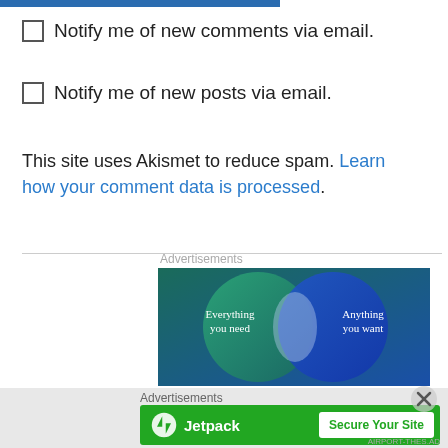Notify me of new comments via email.
Notify me of new posts via email.
This site uses Akismet to reduce spam. Learn how your comment data is processed.
Advertisements
[Figure (illustration): Venn diagram advertisement showing two overlapping circles on a dark blue/teal background. Left circle labeled 'Everything you need', right circle labeled 'Anything you want'.]
Advertisements
[Figure (logo): Jetpack advertisement banner with green background, Jetpack logo on left and 'Secure Your Site' button on right.]